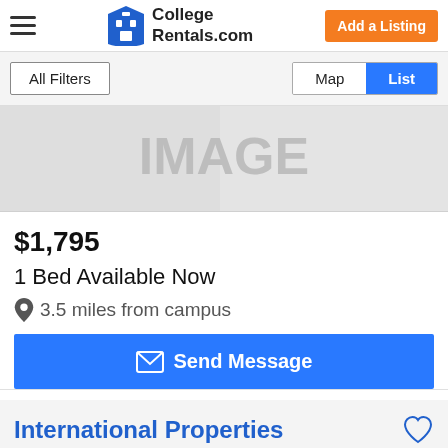CollegeRentals.com — Add a Listing
All Filters | Map | List
[Figure (photo): Blurred property image placeholder showing the text IMAGE]
$1,795
1 Bed Available Now
3.5 miles from campus
Send Message
International Properties